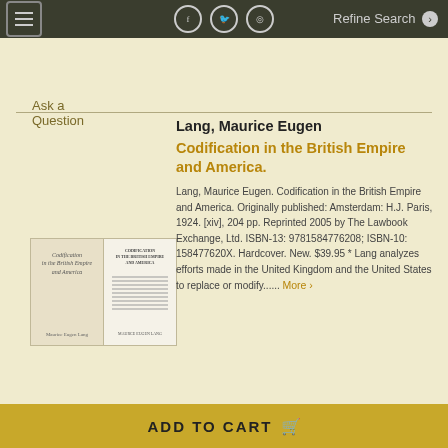Ask a Question
[Figure (photo): Two views of the book 'Codification in the British Empire and America' by Maurice Eugen Lang — front cover and title page]
Lang, Maurice Eugen
Codification in the British Empire and America.
Lang, Maurice Eugen. Codification in the British Empire and America. Originally published: Amsterdam: H.J. Paris, 1924. [xiv], 204 pp. Reprinted 2005 by The Lawbook Exchange, Ltd. ISBN-13: 9781584776208; ISBN-10: 158477620X. Hardcover. New. $39.95 * Lang analyzes efforts made in the United Kingdom and the United States to replace or modify...... More ›
ADD TO CART